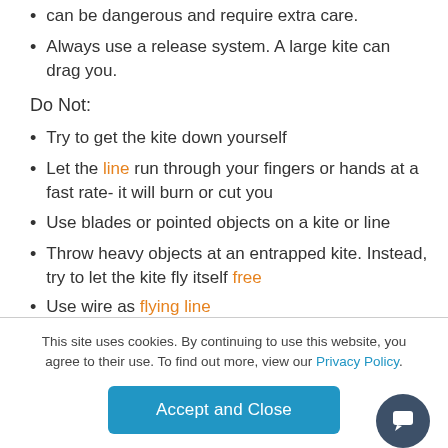can be dangerous and require extra care.
Always use a release system. A large kite can drag you.
Do Not:
Try to get the kite down yourself
Let the line run through your fingers or hands at a fast rate- it will burn or cut you
Use blades or pointed objects on a kite or line
Throw heavy objects at an entrapped kite. Instead, try to let the kite fly itself free
Use wire as flying line
This site uses cookies. By continuing to use this website, you agree to their use. To find out more, view our Privacy Policy.
Accept and Close